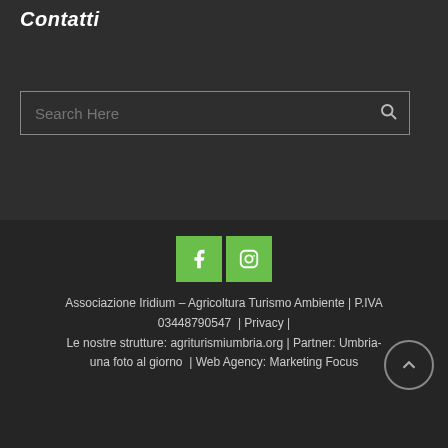Contatti
[Figure (screenshot): Search input box with placeholder text 'Search Here' and a search icon on the right, dark background]
[Figure (infographic): Two green social media icon buttons: Facebook (f) and Instagram (camera icon)]
Associazione Iridium – Agricoltura Turismo Ambiente | P.IVA 03448790547  | Privacy | Le nostre strutture: agriturismiumbria.org | Partner: Umbria-una foto al giorno  | Web Agency: Marketing Focus